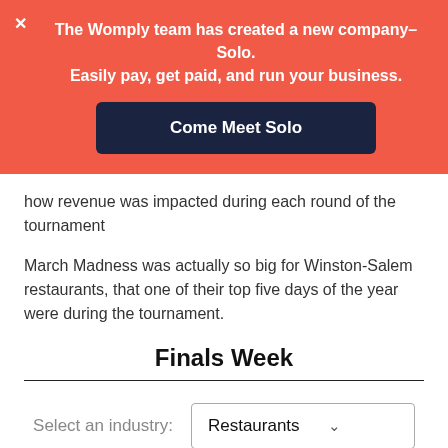The Womply team has created a new company–Solo. Easily pay, get paid, and run your business.
Come Meet Solo
how revenue was impacted during each round of the tournament
March Madness was actually so big for Winston-Salem restaurants, that one of their top five days of the year were during the tournament.
Finals Week
Select an industry: Restaurants